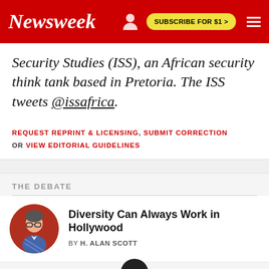Newsweek | SUBSCRIBE FOR $1 >
Security Studies (ISS), an African security think tank based in Pretoria. The ISS tweets @issafrica.
REQUEST REPRINT & LICENSING, SUBMIT CORRECTION OR VIEW EDITORIAL GUIDELINES
THE DEBATE
[Figure (photo): Circular avatar photo of H. Alan Scott, a person wearing glasses and a plaid shirt against a red background]
Diversity Can Always Work in Hollywood
BY H. ALAN SCOTT
[Figure (other): Black circle with VS text]